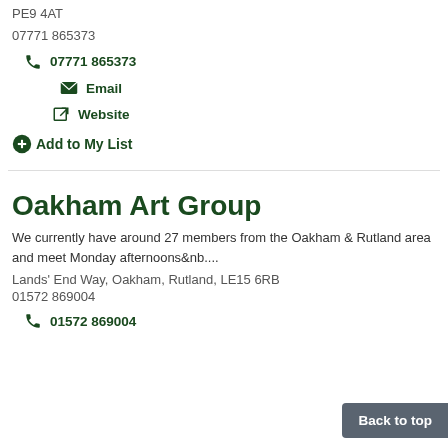PE9 4AT
07771 865373
07771 865373
Email
Website
Add to My List
Oakham Art Group
We currently have around 27 members from the Oakham & Rutland area and meet Monday afternoons&nb....
Lands' End Way, Oakham, Rutland, LE15 6RB
01572 869004
01572 869004
Back to top